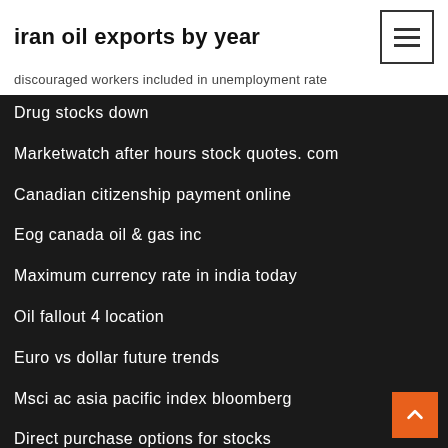iran oil exports by year
discouraged workers included in unemployment rate
Drug stocks down
Marketwatch after hours stock quotes. com
Canadian citizenship payment online
Eog canada oil & gas inc
Maximum currency rate in india today
Oil fallout 4 location
Euro vs dollar future trends
Msci ac asia pacific index bloomberg
Direct purchase options for stocks
Dreyfus institutional s&p 500 stock index